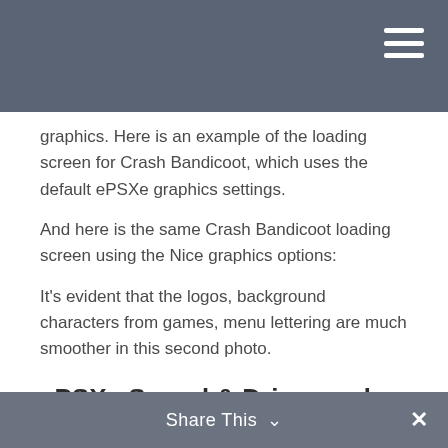graphics. Here is an example of the loading screen for Crash Bandicoot, which uses the default ePSXe graphics settings.
And here is the same Crash Bandicoot loading screen using the Nice graphics options:
It's evident that the logos, background characters from games, menu lettering are much smoother in this second photo.
ePSXe Sound & Driver and Controller Configuration
Let's discuss the sound settings. This is the best option, as ePSXe is able to handle the majority of PS1 games with good sour
Share This